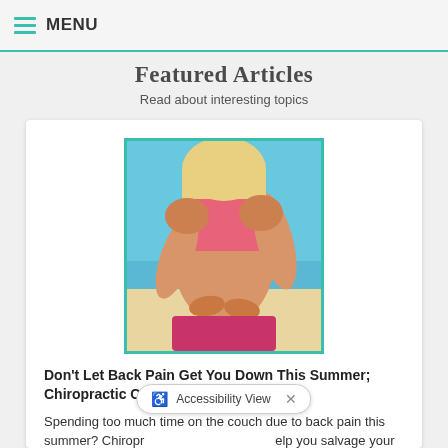MENU
Featured Articles
Read about interesting topics
[Figure (photo): Woman in pink sports bra and shorts touching her lower back, photographed from behind, beach background]
Don't Let Back Pain Get You Down This Summer; Chiropractic Can Help
Spending too much time on the couch due to back pain this summer? Chiropractic treatment could help you salvage your summer.
Accessibility View